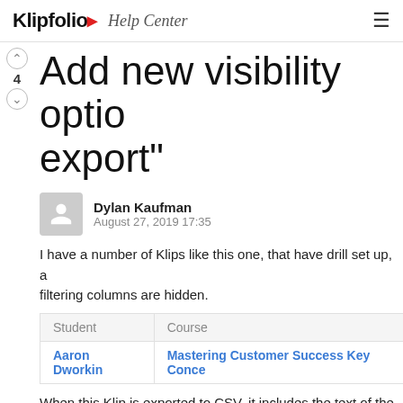Klipfolio Help Center
Add new visibility options for export"
Dylan Kaufman
August 27, 2019 17:35
I have a number of Klips like this one, that have drill set up, a filtering columns are hidden.
| Student | Course |
| --- | --- |
| Aaron Dworkin | Mastering Customer Success Key Conce... |
When this Klip is exported to CSV, it includes the text of the two more hidden columns, Student Name and Course Name gets the end-user a column that only has the names, withou